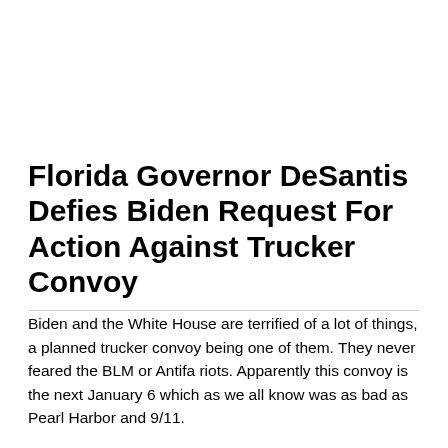Florida Governor DeSantis Defies Biden Request For Action Against Trucker Convoy
Biden and the White House are terrified of a lot of things, a planned trucker convoy being one of them. They never feared the BLM or Antifa riots. Apparently this convoy is the next January 6 which as we all know was as bad as Pearl Harbor and 9/11.